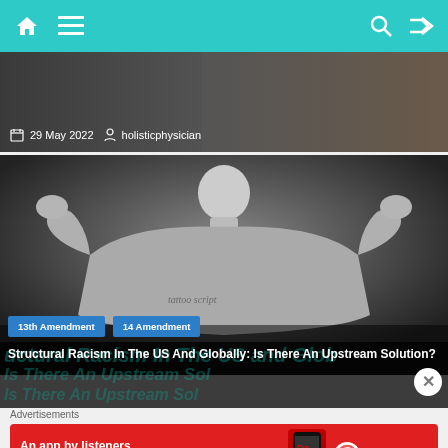Navigation bar with home, menu, search, and shuffle icons
[Figure (screenshot): Top partial image strip showing date '29 May 2022' and author 'holisticphysician' metadata]
[Figure (photo): Black and white photo of a muscular bald person viewed from behind, flexing both arms, with tattoos on their back]
13th Amendment
14 Amendment
Structural Racism In The US And Globally: Is There An Upstream Solution?
Advertisements
[Figure (screenshot): Red advertisement banner for Pocket Casts app reading 'An app by listeners, for listeners.' with phone graphic and Pocket Casts logo]